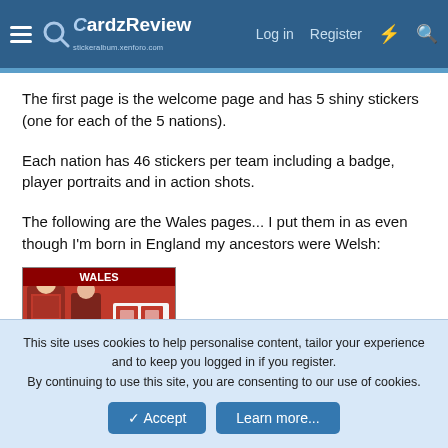CardzReview — Log in | Register
The first page is the welcome page and has 5 shiny stickers (one for each of the 5 nations).
Each nation has 46 stickers per team including a badge, player portraits and in action shots.
The following are the Wales pages... I put them in as even though I'm born in England my ancestors were Welsh:
[Figure (photo): Photo of a Wales rugby sticker album page showing player stickers with red backgrounds and a 'WALES' header]
This site uses cookies to help personalise content, tailor your experience and to keep you logged in if you register. By continuing to use this site, you are consenting to our use of cookies.